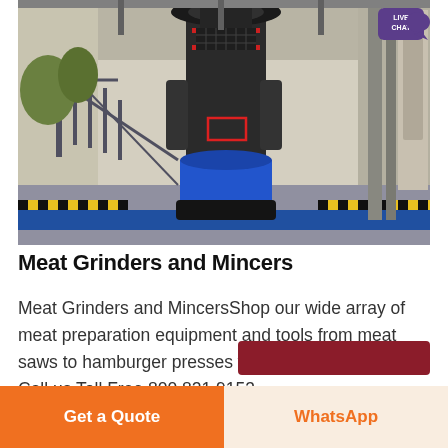[Figure (photo): Industrial grinder/mill machine in a factory setting. Large heavy machinery with a vertical structure, dark body, blue base components, safety railings (black and yellow striped floor), and industrial scaffolding in the background.]
Meat Grinders and Mincers
Meat Grinders and MincersShop our wide array of meat preparation equipment and tools from meat saws to hamburger presses we ve got you covered Call us Toll Free 800 821 9153